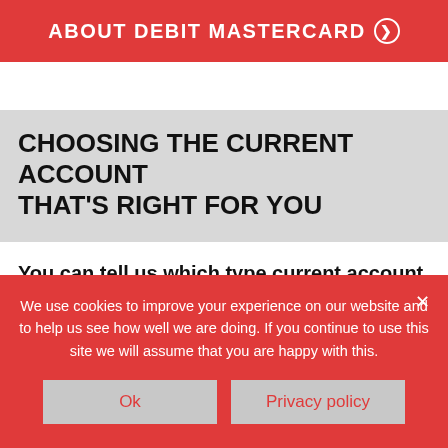ABOUT DEBIT MASTERCARD
CHOOSING THE CURRENT ACCOUNT THAT'S RIGHT FOR YOU
You can tell us which type current account you would like when you join the credit union.
If you are already a member you can open a current
We use cookies to improve your experience on our website and to help us see how well we are doing. If you continue to use this site we will assume that you are happy with this.
Ok | Privacy policy